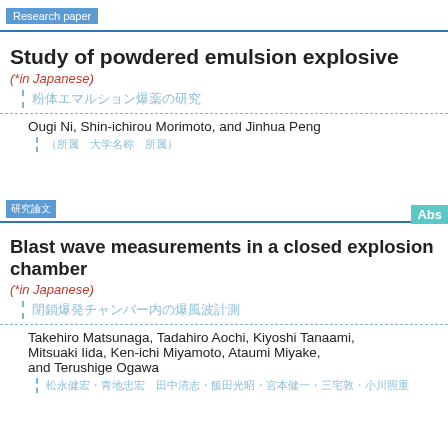Research paper
Study of powdered emulsion explosive
(*in Japanese)
（Japanese title characters）
Ougi Ni, Shin-ichirou Morimoto, and Jinhua Peng
（Japanese affiliation characters）
Abs
（Japanese section badge）
Blast wave measurements in a closed explosion chamber
(*in Japanese)
（Japanese title characters）
Takehiro Matsunaga, Tadahiro Aochi, Kiyoshi Tanaami, Mitsuaki Iida, Ken-ichi Miyamoto, Ataumi Miyake, and Terushige Ogawa
（Japanese affiliation characters）
Abs